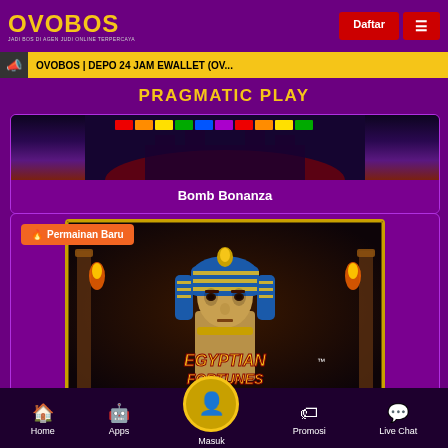OVOBOS - JADI BOS DI AGEN JUDI ONLINE TERPERCAYA
OVOBOS | DEPO 24 JAM EWALLET (OV...
PRAGMATIC PLAY
[Figure (screenshot): Bomb Bonanza game card with dark fantasy themed image]
Bomb Bonanza
[Figure (screenshot): Egyptian Fortunes game card with pharaoh image and 'Permainan Baru' (New Game) badge]
Home | Apps | Masuk | Promosi | Live Chat